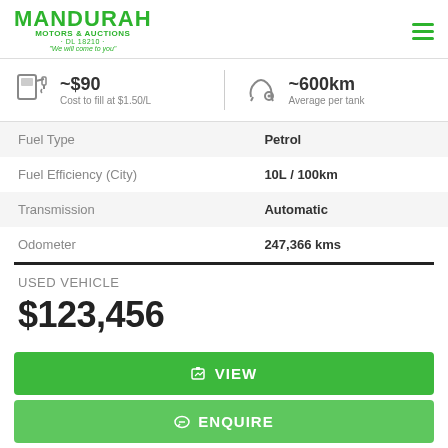[Figure (logo): Mandurah Motors & Auctions logo in green with tagline]
~$90 Cost to fill at $1.50/L
~600km Average per tank
|  |  |
| --- | --- |
| Fuel Type | Petrol |
| Fuel Efficiency (City) | 10L / 100km |
| Transmission | Automatic |
| Odometer | 247,366 kms |
USED VEHICLE
$123,456
VIEW
ENQUIRE